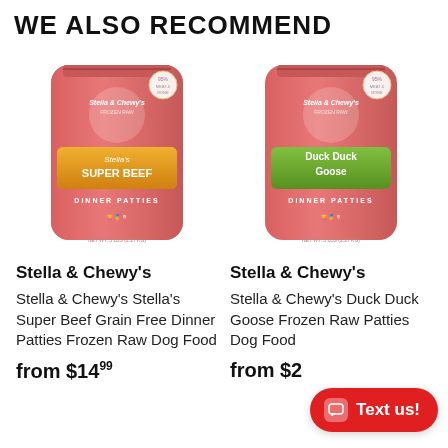WE ALSO RECOMMEND
[Figure (photo): Stella & Chewy's Stella's Super Beef Dinner Patties Frozen Raw Dog Food product bag — pink/red pouch with orange and yellow label]
[Figure (photo): Stella & Chewy's Duck Duck Goose Dinner Patties Frozen Raw Dog Food product bag — pink/red pouch with green label]
Stella & Chewy's
Stella & Chewy's
Stella & Chewy's Stella's Super Beef Grain Free Dinner Patties Frozen Raw Dog Food
Stella & Chewy's Duck Duck Goose Frozen Raw Patties Dog Food
from $14.99
from $2